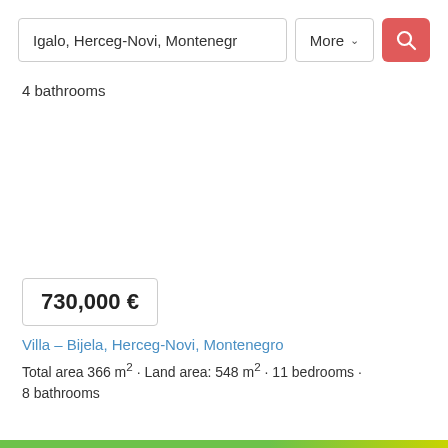[Figure (screenshot): Search bar with location input 'Igalo, Herceg-Novi, Montenegr', a 'More' dropdown button, and a red search icon button]
4 bathrooms
730,000 €
Villa – Bijela, Herceg-Novi, Montenegro
Total area 366 m² · Land area: 548 m² · 11 bedrooms · 8 bathrooms